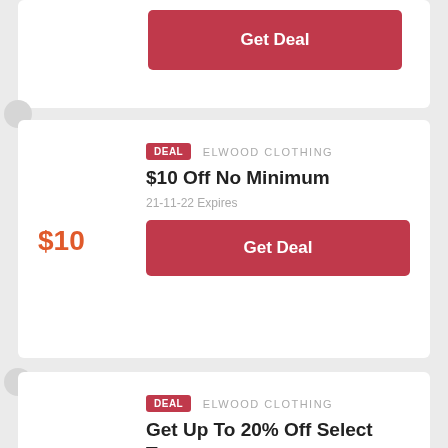Get Deal
DEAL  ELWOOD CLOTHING
$10 Off No Minimum
21-11-22 Expires
$10
Get Deal
DEAL  ELWOOD CLOTHING
Get Up To 20% Off Select Tees
23-10-22 Expires
20%
Get Deal